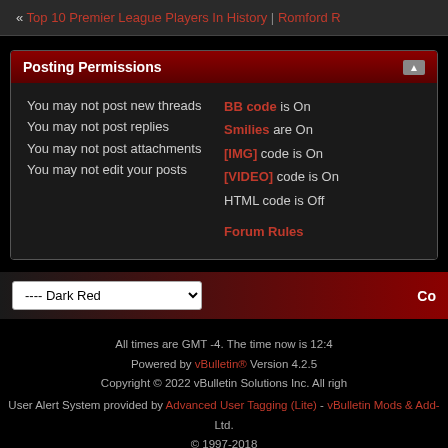« Top 10 Premier League Players In History | Romford R
Posting Permissions
You may not post new threads
You may not post replies
You may not post attachments
You may not edit your posts
BB code is On
Smilies are On
[IMG] code is On
[VIDEO] code is On
HTML code is Off
Forum Rules
---- Dark Red
Co
All times are GMT -4. The time now is 12:4
Powered by vBulletin® Version 4.2.5
Copyright © 2022 vBulletin Solutions Inc. All righ
User Alert System provided by Advanced User Tagging (Lite) - vBulletin Mods & Add- Ltd.
© 1997-2018
[Figure (other): Donate button (yellow/gold styled button)]